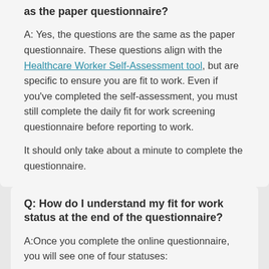as the paper questionnaire?
A: Yes, the questions are the same as the paper questionnaire. These questions align with the Healthcare Worker Self-Assessment tool, but are specific to ensure you are fit to work. Even if you've completed the self-assessment, you must still complete the daily fit for work screening questionnaire before reporting to work.
It should only take about a minute to complete the questionnaire.
Q: How do I understand my fit for work status at the end of the questionnaire?
A:Once you complete the online questionnaire, you will see one of four statuses: